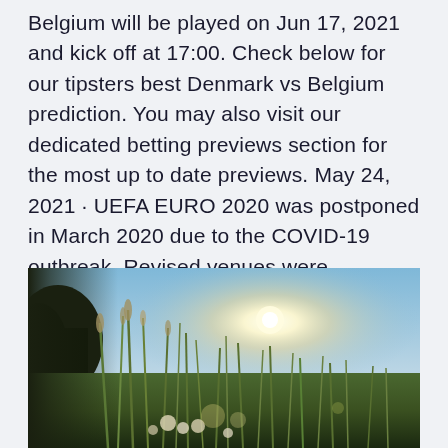Belgium will be played on Jun 17, 2021 and kick off at 17:00. Check below for our tipsters best Denmark vs Belgium prediction. You may also visit our dedicated betting previews section for the most up to date previews. May 24, 2021 · UEFA EURO 2020 was postponed in March 2020 due to the COVID-19 outbreak. Revised venues were approved by the UEFA Executive Committee on 23 April 2021.
[Figure (photo): Outdoor nature photograph showing tall grass and wildflowers in the foreground with a bright sun glare and light blue sky in the background, taken at ground level.]